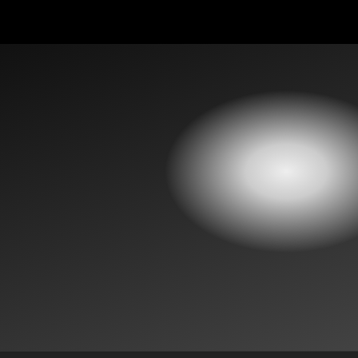[Figure (photo): Two-panel photo strip: left panel shows a person in a white shirt with a blue lanyard at an event; right panel shows dark chairs/seating area]
LIVE CAMS
Live updates from Southern Baptist Convention annual meeting Tuesday
ANAHEIM, Calif. — With lots of drama and heavy decisions expected, Southern Baptists gathered Tuesday morning for the first official day of the Southern Baptist…
Sophie Letto — June 14, 2022
READ MORE